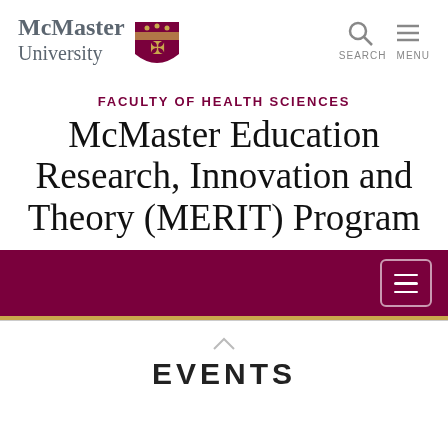[Figure (logo): McMaster University logo with shield crest and navigation icons (search and menu)]
FACULTY OF HEALTH SCIENCES
McMaster Education Research, Innovation and Theory (MERIT) Program
[Figure (other): Maroon navigation bar with hamburger menu button]
EVENTS